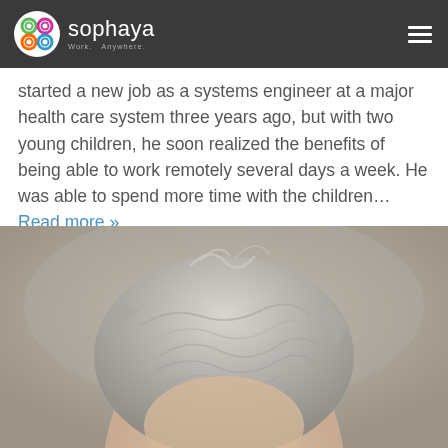sophaya — Work. Anywhere.
started a new job as a systems engineer at a major health care system three years ago, but with two young children, he soon realized the benefits of being able to work remotely several days a week. He was able to spend more time with the children… Read more »
[Figure (photo): Close-up photograph of a person with gray/silver hair, top of head visible, blurred background]